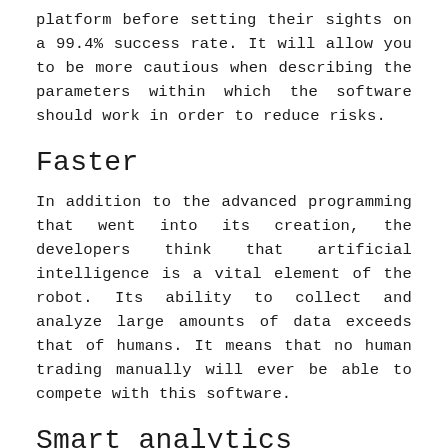platform before setting their sights on a 99.4% success rate. It will allow you to be more cautious when describing the parameters within which the software should work in order to reduce risks.
Faster
In addition to the advanced programming that went into its creation, the developers think that artificial intelligence is a vital element of the robot. Its ability to collect and analyze large amounts of data exceeds that of humans. It means that no human trading manually will ever be able to compete with this software.
Smart analytics
Edge combines modern programming and AI to analyze market data, utilizing innovative and